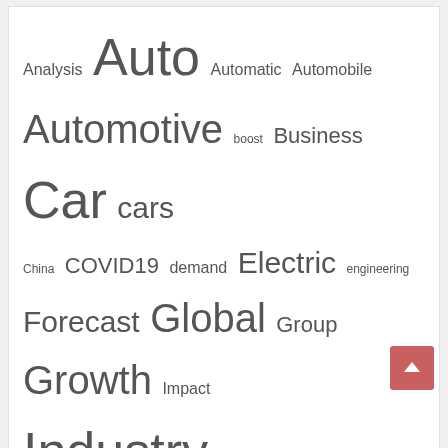[Figure (infographic): Tag cloud with automotive-related keywords in varying font sizes. Words include: Analysis, Auto, Automatic, Automobile, Automotive, boost, Business, Car, cars, China, COVID19, demand, Electric, engineering, Forecast, Global, Group, Growth, Impact, Industry, Insurance, Key, Market, Mechanic, Million, News, Opportunities, Pandemic, Parts, Recovery, report, Research, sale, sales, September, Share, show, Size, System, Tesla, Top, Trends, USD, Vehicle, World]
About Us
Advertise Here
Contact Us
Privacy Policy
Sitemap